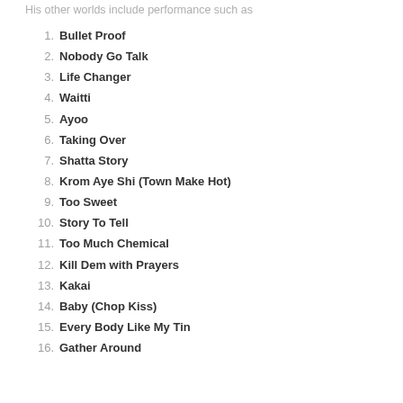His other worlds include performance such as
Bullet Proof
Nobody Go Talk
Life Changer
Waitti
Ayoo
Taking Over
Shatta Story
Krom Aye Shi (Town Make Hot)
Too Sweet
Story To Tell
Too Much Chemical
Kill Dem with Prayers
Kakai
Baby (Chop Kiss)
Every Body Like My Tin
Gather Around